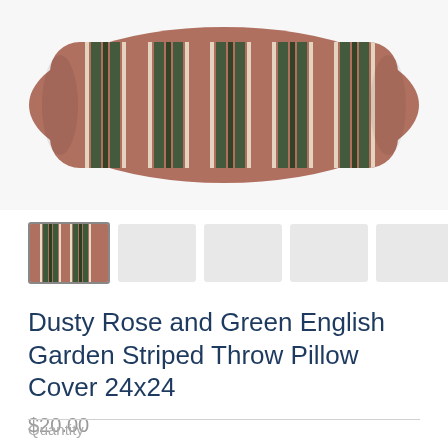[Figure (photo): A dusty rose and green striped throw pillow cover photographed against a white background, shown in a lumbar/rectangular orientation with vertical green and cream stripes on a dusty rose/brown fabric.]
[Figure (photo): Thumbnail row: first thumbnail shows the same striped pillow cover (active/selected), followed by five grey placeholder thumbnail squares.]
Dusty Rose and Green English Garden Striped Throw Pillow Cover 24x24
$20.00
Quantity